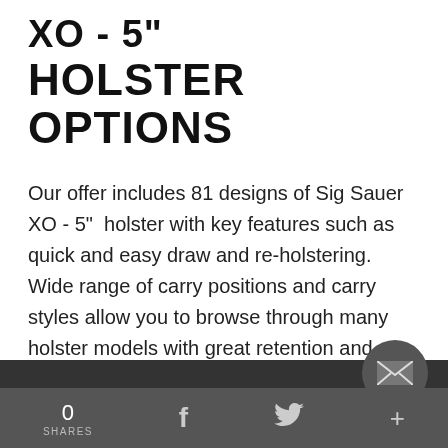XO - 5"
HOLSTER OPTIONS
Our offer includes 81 designs of Sig Sauer XO - 5" holster with key features such as quick and easy draw and re-holstering. Wide range of carry positions and carry styles allow you to browse through many holster models with great retention and a covered trigger guard, either open top holsters or holsters with a thumb break. Our Sig Sauer XO - 5" holsters are designed to minimise gun print so your carry is only known to you, their slim profile and premium stitching are a key feature. Other than that, we have a wide range of on-duty or off-duty holsters for your daily
0 SHARES   f   twitter   +